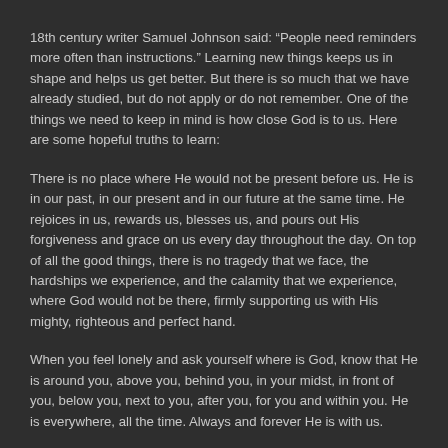18th century writer Samuel Johnson said: “People need reminders more often than instructions.” Learning new things keeps us in shape and helps us get better. But there is so much that we have already studied, but do not apply or do not remember. One of the things we need to keep in mind is how close God is to us. Here are some hopeful truths to learn:
There is no place where He would not be present before us. He is in our past, in our present and in our future at the same time. He rejoices in us, rewards us, blesses us, and pours out His forgiveness and grace on us every day throughout the day. On top of all the good things, there is no tragedy that we face, the hardships we experience, and the calamity that we experience, where God would not be there, firmly supporting us with His mighty, righteous and perfect hand.
When you feel lonely and ask yourself where is God, know that He is around you, above you, behind you, in your midst, in front of you, below you, next to you, after you, for you and within you. He is everywhere, all the time. Always and forever He is with us.